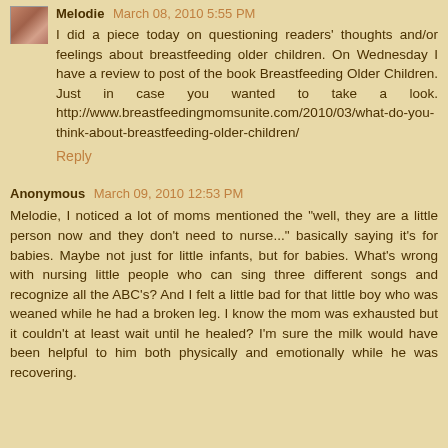Melodie March 08, 2010 5:55 PM
I did a piece today on questioning readers' thoughts and/or feelings about breastfeeding older children. On Wednesday I have a review to post of the book Breastfeeding Older Children. Just in case you wanted to take a look. http://www.breastfeedingmomsunite.com/2010/03/what-do-you-think-about-breastfeeding-older-children/
Reply
Anonymous March 09, 2010 12:53 PM
Melodie, I noticed a lot of moms mentioned the "well, they are a little person now and they don't need to nurse..." basically saying it's for babies. Maybe not just for little infants, but for babies. What's wrong with nursing little people who can sing three different songs and recognize all the ABC's? And I felt a little bad for that little boy who was weaned while he had a broken leg. I know the mom was exhausted but it couldn't at least wait until he healed? I'm sure the milk would have been helpful to him both physically and emotionally while he was recovering.